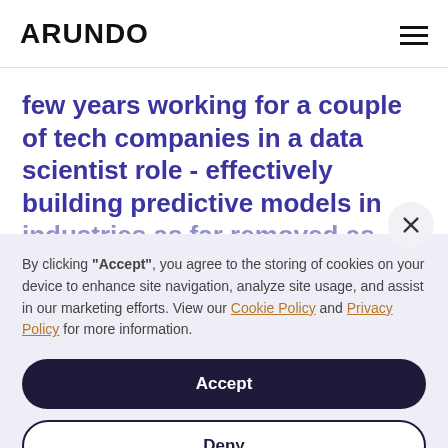ARUNDO
few years working for a couple of tech companies in a data scientist role - effectively building predictive models in industries as far removed as fashion
By clicking "Accept", you agree to the storing of cookies on your device to enhance site navigation, analyze site usage, and assist in our marketing efforts. View our Cookie Policy and Privacy Policy for more information.
Accept
Deny
Preferences